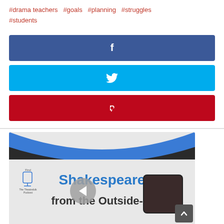#drama teachers  #goals  #planning  #struggles  #students
[Figure (other): Facebook share button (dark blue with 'f' icon)]
[Figure (other): Twitter share button (light blue with bird icon)]
[Figure (other): Pinterest share button (red with 'P' icon)]
[Figure (screenshot): Video thumbnail for 'Shakespeare from the Outside-In' podcast episode with play button overlay and left navigation arrow. Shows a man with mouth open on the right side. The Theatrefolk Podcast logo appears top left.]